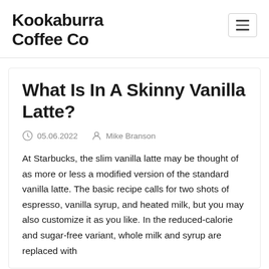Kookaburra Coffee Co
What Is In A Skinny Vanilla Latte?
05.06.2022   Mike Branson
At Starbucks, the slim vanilla latte may be thought of as more or less a modified version of the standard vanilla latte. The basic recipe calls for two shots of espresso, vanilla syrup, and heated milk, but you may also customize it as you like. In the reduced-calorie and sugar-free variant, whole milk and syrup are replaced with